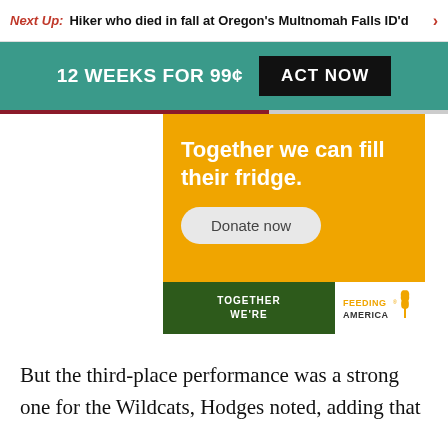Next Up: Hiker who died in fall at Oregon's Multnomah Falls ID'd
12 WEEKS FOR 99¢  ACT NOW
[Figure (infographic): Feeding America advertisement: orange background with white text 'Together we can fill their fridge.' and a 'Donate now' button, dark green footer with 'TOGETHER WE'RE' text and Feeding America logo]
But the third-place performance was a strong one for the Wildcats, Hodges noted, adding that